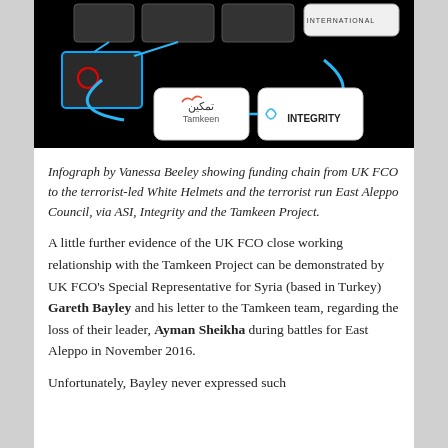[Figure (infographic): Infographic on black background showing funding chain from UK FCO to White Helmets and East Aleppo Council via ASI, Integrity and Tamkeen Project. Contains photos of armed groups, logos of Tamkeen and Integrity International connected by blue arrows.]
Infograph by Vanessa Beeley showing funding chain from UK FCO to the terrorist-led White Helmets and the terrorist run East Aleppo Council, via ASI, Integrity and the Tamkeen Project.
A little further evidence of the UK FCO close working relationship with the Tamkeen Project can be demonstrated by UK FCO’s Special Representative for Syria (based in Turkey) Gareth Bayley and his letter to the Tamkeen team, regarding the loss of their leader, Ayman Sheikha during battles for East Aleppo in November 2016.
Unfortunately, Bayley never expressed such